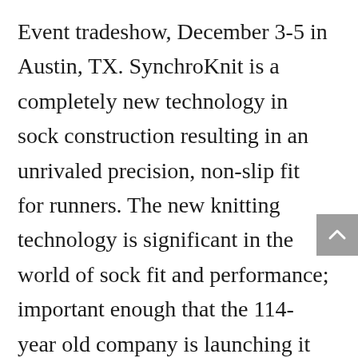Event tradeshow, December 3-5 in Austin, TX. SynchroKnit is a completely new technology in sock construction resulting in an unrivaled precision, non-slip fit for runners. The new knitting technology is significant in the world of sock fit and performance; important enough that the 114-year old company is launching it as a new brand called SynchroKnit™ powered by Wigwam. Attendees of The Running Event can check out the new technology at the SynchroKnit booth number 513, The Running Event Sock Bar and at the start and finish of the Indie 5K on the morning of Day 3.